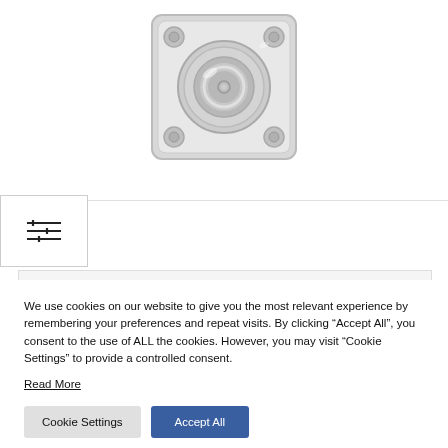[Figure (photo): Chrome/silver square ring pull flush mount hardware product, viewed from above, showing a circular ring handle in a square escutcheon plate with four corner screw holes.]
[Figure (screenshot): Filter/slider icon button (hamburger with lines), shown as a small UI control button in upper left area.]
[Figure (photo): Second product image panel, partially visible thumbnail of the same chrome ring pull hardware from a slightly different angle.]
We use cookies on our website to give you the most relevant experience by remembering your preferences and repeat visits. By clicking “Accept All”, you consent to the use of ALL the cookies. However, you may visit “Cookie Settings” to provide a controlled consent.
Read More
Cookie Settings
Accept All